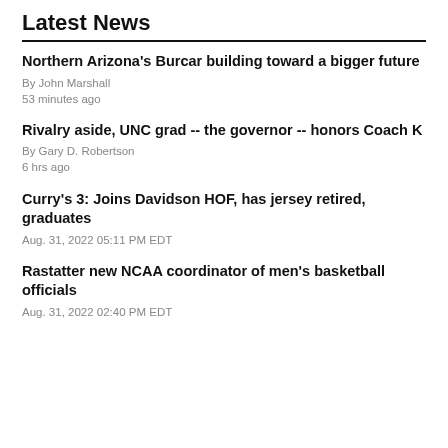Latest News
Northern Arizona's Burcar building toward a bigger future
By John Marshall
53 minutes ago
Rivalry aside, UNC grad -- the governor -- honors Coach K
By Gary D. Robertson
6 hrs ago
Curry's 3: Joins Davidson HOF, has jersey retired, graduates
Aug. 31, 2022 05:11 PM EDT
Rastatter new NCAA coordinator of men's basketball officials
Aug. 31, 2022 02:40 PM EDT